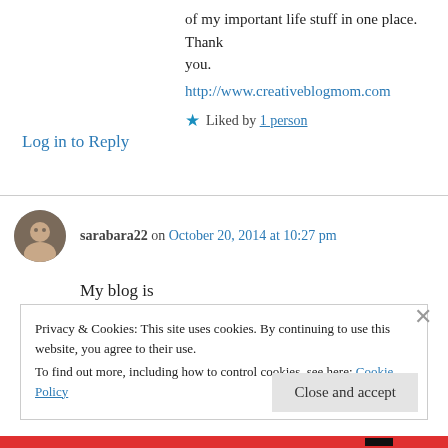of my important life stuff in one place. Thank you.
http://www.creativeblogmom.com
★ Liked by 1 person
Log in to Reply
sarabara22 on October 20, 2014 at 10:27 pm
My blog is beingyoungandbeingsanadult.wordpress.com/
Privacy & Cookies: This site uses cookies. By continuing to use this website, you agree to their use.
To find out more, including how to control cookies, see here: Cookie Policy